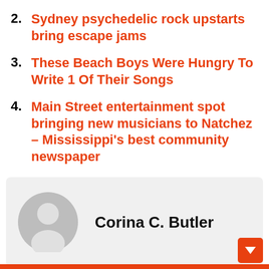2. Sydney psychedelic rock upstarts bring escape jams
3. These Beach Boys Were Hungry To Write 1 Of Their Songs
4. Main Street entertainment spot bringing new musicians to Natchez – Mississippi's best community newspaper
[Figure (illustration): Author profile box with a gray circular avatar icon (person silhouette) on the left and the name 'Corina C. Butler' in bold black text to the right, on a light gray background.]
Corina C. Butler